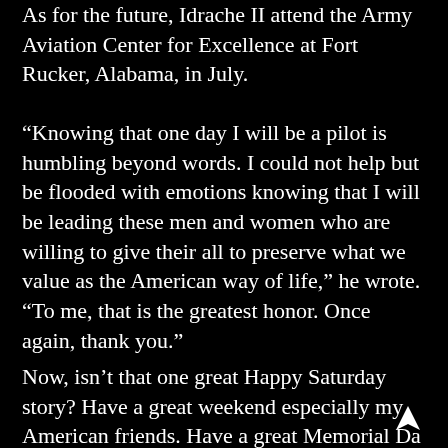As for the future, Idrache II attend the Army Aviation Center for Excellence at Fort Rucker, Alabama, in July.
“Knowing that one day I will be a pilot is humbling beyond words. I could not help but be flooded with emotions knowing that I will be leading these men and women who are willing to give their all to preserve what we value as the American way of life,” he wrote. “To me, that is the greatest honor. Once again, thank you.”
Now, isn’t that one great Happy Saturday story? Have a great weekend especially my American friends. Have a great Memorial Da